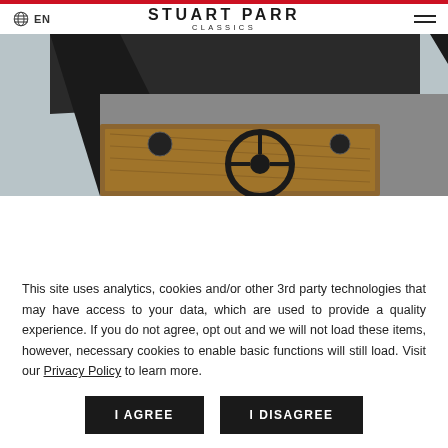STUART PARR CLASSICS — EN
[Figure (photo): Close-up interior photo of a classic car dashboard with wood veneer trim, steering wheel, and black convertible top framing]
This site uses analytics, cookies and/or other 3rd party technologies that may have access to your data, which are used to provide a quality experience. If you do not agree, opt out and we will not load these items, however, necessary cookies to enable basic functions will still load. Visit our Privacy Policy to learn more.
I AGREE
I DISAGREE